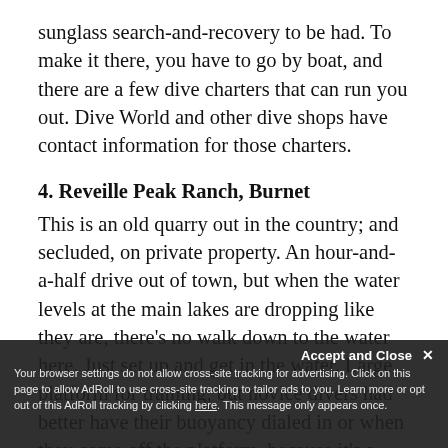sunglass search-and-recovery to be had. To make it there, you have to go by boat, and there are a few dive charters that can run you out. Dive World and other dive shops have contact information for those charters.
4. Reveille Peak Ranch, Burnet
This is an old quarry out in the country; and secluded, on private property. An hour-and-a-half drive out of town, but when the water levels at the main lakes are dropping like they are, there's no walk down to the water here. Just set up and get in the water. Large platform for training, but novice divers had better have their buoyancy dialed in or when they come off the platform, because it's a vertical wall dropping down to around 80 feet.
Accept and Close ×
Your browser settings do not allow cross-site tracking for advertising. Click on this page to allow AdRoll to use cross-site tracking to tailor ads to you. Learn more or opt out of this AdRoll tracking by clicking here. This message only appears once.